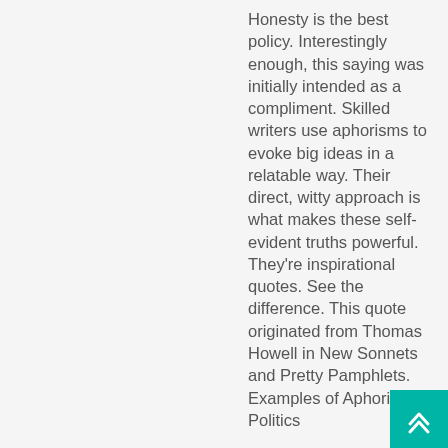Honesty is the best policy. Interestingly enough, this saying was initially intended as a compliment. Skilled writers use aphorisms to evoke big ideas in a relatable way. Their direct, witty approach is what makes these self-evident truths powerful. They're inspirational quotes. See the difference. This quote originated from Thomas Howell in New Sonnets and Pretty Pamphlets. Examples of Aphorism in Politics